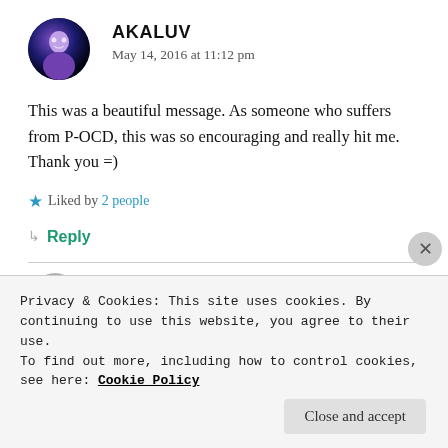[Figure (photo): Circular avatar image of user AKALUV with a purple/blue cosmic theme]
AKALUV
May 14, 2016 at 11:12 pm
This was a beautiful message. As someone who suffers from P-OCD, this was so encouraging and really hit me. Thank you =)
★ Liked by 2 people
↳ Reply
Privacy & Cookies: This site uses cookies. By continuing to use this website, you agree to their use.
To find out more, including how to control cookies, see here: Cookie Policy
Close and accept